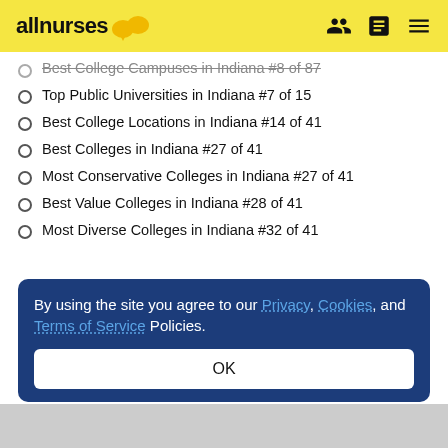allnurses
Best College Campuses in Indiana #8 of 87
Top Public Universities in Indiana #7 of 15
Best College Locations in Indiana #14 of 41
Best Colleges in Indiana #27 of 41
Most Conservative Colleges in Indiana #27 of 41
Best Value Colleges in Indiana #28 of 41
Most Diverse Colleges in Indiana #32 of 41
By using the site you agree to our Privacy, Cookies, and Terms of Service Policies. OK